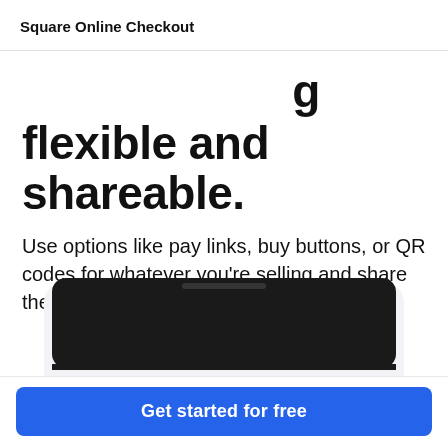Square Online Checkout
flexible and shareable.
Use options like pay links, buy buttons, or QR codes for whatever you're selling and share them with customers in all kinds of ways.
[Figure (photo): Bottom portion of a device (phone or tablet) mockup with dark screen, partially cropped at bottom of page]
Get started for free